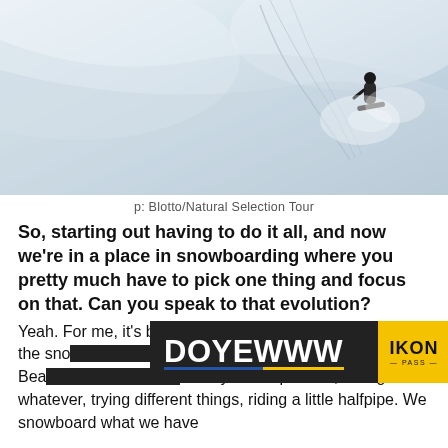[Figure (photo): A snowboarder carving through deep powder snow on a steep white slope, aerial/overhead perspective, with tracks visible in the snow.]
p: Blotto/Natural Selection Tour
So, starting out having to do it all, and now we’re in a place in snowboarding where you pretty much have to pick one thing and focus on that. Can you speak to that evolution?
Yeah. For me, it’s been over twenty years being a part of the snowboarding world. I grew up in Big Bear, California. Obviously was a park rat, hitting whatever, trying different things, riding a little halfpipe. We snowboard what we have
[Figure (other): Advertisement banner: DOYEWWW logo in white bold text on dark background, with IKON PASS logo in yellow block on the right, and a colored underline bar.]